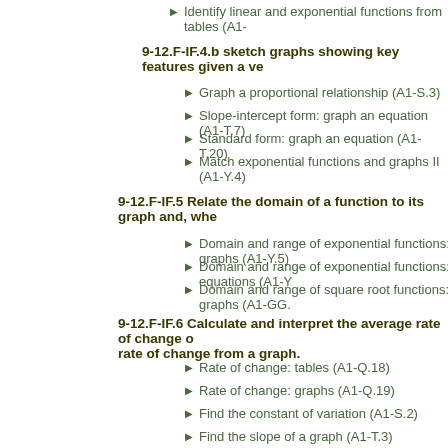Identify linear and exponential functions from tables (A1-...
9-12.F-IF.4.b sketch graphs showing key features given a ve...
Graph a proportional relationship (A1-S.3)
Slope-intercept form: graph an equation (A1-T.7)
Standard form: graph an equation (A1-T.20)
Match exponential functions and graphs II (A1-Y.4)
9-12.F-IF.5 Relate the domain of a function to its graph and, whe...
Domain and range of exponential functions: graphs (A1-Y.5)
Domain and range of exponential functions: equations (A1-Y...
Domain and range of square root functions: graphs (A1-GG....
9-12.F-IF.6 Calculate and interpret the average rate of change o... rate of change from a graph.
Rate of change: tables (A1-Q.18)
Rate of change: graphs (A1-Q.19)
Find the constant of variation (A1-S.2)
Find the slope of a graph (A1-T.3)